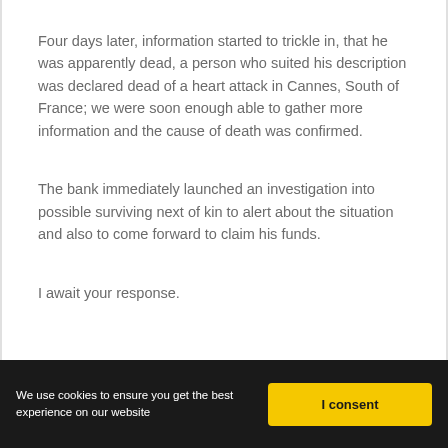Four days later, information started to trickle in, that he was apparently dead, a person who suited his description was declared dead of a heart attack in Cannes, South of France; we were soon enough able to gather more information and the cause of death was confirmed.
The bank immediately launched an investigation into possible surviving next of kin to alert about the situation and also to come forward to claim his funds.
I await your response.
We use cookies to ensure you get the best experience on our website | I consent